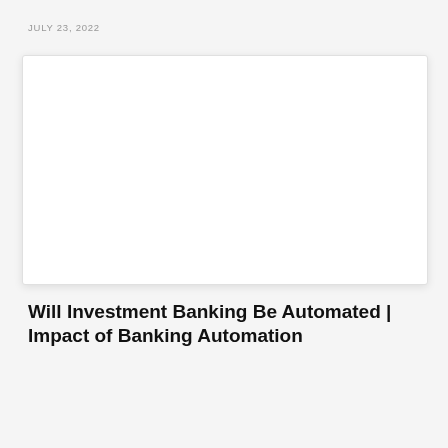JULY 23, 2022
[Figure (photo): White/blank rectangular image card with shadow, representing an article hero image placeholder]
Will Investment Banking Be Automated | Impact of Banking Automation